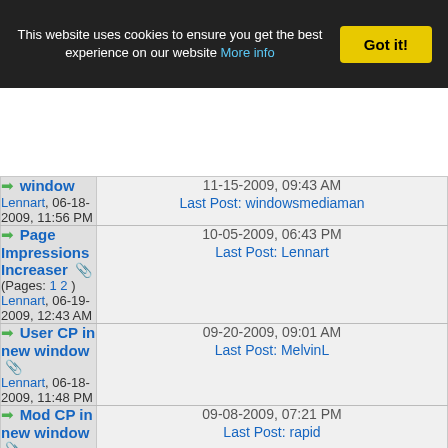This website uses cookies to ensure you get the best experience on our website More info | Got it!
| Thread | Last Post |
| --- | --- |
| window
Lennart, 06-18-2009, 11:56 PM | 11-15-2009, 09:43 AM
Last Post: windowsmediaman |
| Page Impressions Increaser (Pages: 1 2)
Lennart, 06-19-2009, 12:43 AM | 10-05-2009, 06:43 PM
Last Post: Lennart |
| User CP in new window
Lennart, 06-18-2009, 11:48 PM | 09-20-2009, 09:01 AM
Last Post: MelvinL |
| Mod CP in new window
Lennart, 06-18-2009, 11:51 | 09-08-2009, 07:21 PM
Last Post: rapid |